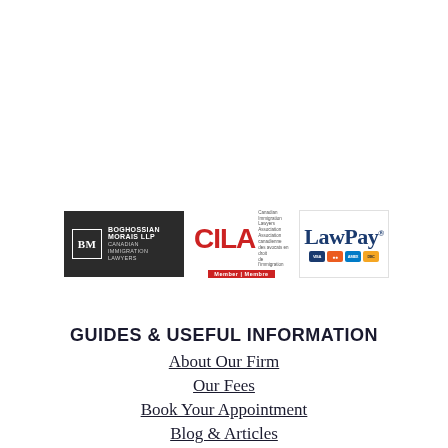[Figure (logo): Boghossian Morais LLP Canadian Immigration Lawyers logo (dark background with BM monogram)]
[Figure (logo): CILA - Canadian Immigration Lawyers Association Member/Membre logo]
[Figure (logo): LawPay payment logo with Visa, Mastercard, Amex, Discover card icons]
GUIDES & USEFUL INFORMATION
About Our Firm
Our Fees
Book Your Appointment
Blog & Articles